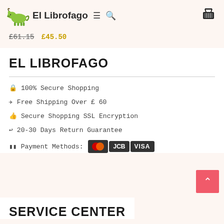El Librofago
£61.15 £45.50
EL LIBROFAGO
🔒 100% Secure Shopping
✈ Free Shipping Over £60
👍 Secure Shopping SSL Encryption
↩ 20-30 Days Return Guarantee
Payment Methods: Mastercard JCB VISA
SERVICE CENTER